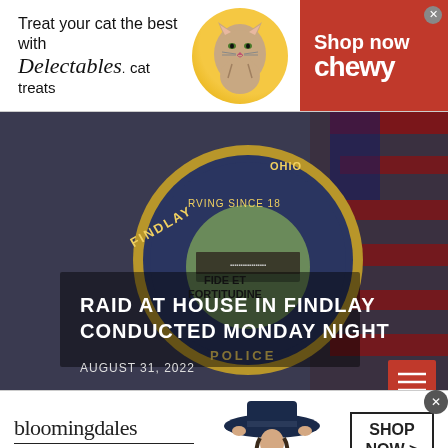[Figure (other): Chewy advertisement banner: 'Treat your cat the best with Delectables cat treats' with a cat photo in golden circle and red 'Shop now chewy' button on the right]
[Figure (photo): Findlay Ohio Police Department badge/patch overlaid on American flag background, with white bold text overlay reading 'RAID AT HOUSE IN FINDLAY CONDUCTED MONDAY NIGHT' and date 'AUGUST 31, 2022' at bottom left. Badge shows 'FIDE ET FORTITUDINE' motto.]
[Figure (other): Bloomingdale's advertisement: 'bloomingdales / View Today's Top Deals!' with woman in wide-brim hat and 'SHOP NOW >' button]